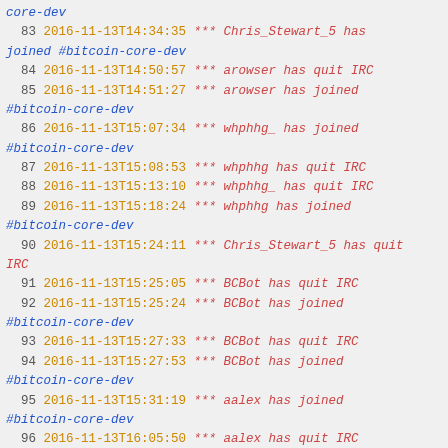IRC log entries 82-99, bitcoin-core-dev channel, 2016-11-13
83 2016-11-13T14:34:35 *** Chris_Stewart_5 has joined #bitcoin-core-dev
84 2016-11-13T14:50:57 *** arowser has quit IRC
85 2016-11-13T14:51:27 *** arowser has joined #bitcoin-core-dev
86 2016-11-13T15:07:34 *** whphhg_ has joined #bitcoin-core-dev
87 2016-11-13T15:08:53 *** whphhg has quit IRC
88 2016-11-13T15:13:10 *** whphhg_ has quit IRC
89 2016-11-13T15:18:24 *** whphhg has joined #bitcoin-core-dev
90 2016-11-13T15:24:11 *** Chris_Stewart_5 has quit IRC
91 2016-11-13T15:25:05 *** BCBot has quit IRC
92 2016-11-13T15:25:24 *** BCBot has joined #bitcoin-core-dev
93 2016-11-13T15:27:33 *** BCBot has quit IRC
94 2016-11-13T15:27:53 *** BCBot has joined #bitcoin-core-dev
95 2016-11-13T15:31:19 *** aalex has joined #bitcoin-core-dev
96 2016-11-13T16:05:50 *** aalex has quit IRC
97 2016-11-13T16:11:44 *** crudel has joined #bitcoin-core-dev
98 2016-11-13T16:21:21 *** cdecker has quit IRC
99 2016-11-13T16:22:09 *** cdecker has joined